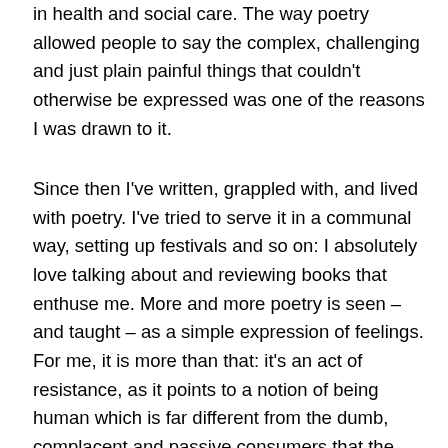in health and social care. The way poetry allowed people to say the complex, challenging and just plain painful things that couldn't otherwise be expressed was one of the reasons I was drawn to it.
Since then I've written, grappled with, and lived with poetry. I've tried to serve it in a communal way, setting up festivals and so on: I absolutely love talking about and reviewing books that enthuse me. More and more poetry is seen – and taught – as a simple expression of feelings. For me, it is more than that: it's an act of resistance, as it points to a notion of being human which is far different from the dumb, complacent and passive consumers that the powers that be wish us to become.